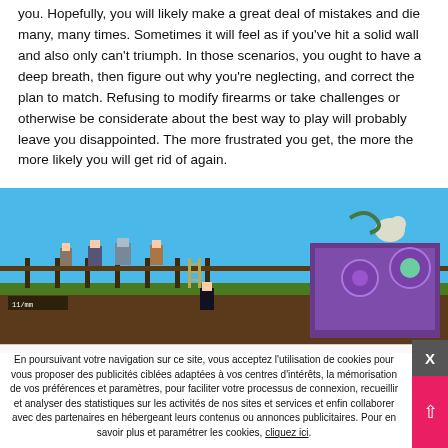you. Hopefully, you will likely make a great deal of mistakes and die many, many times. Sometimes it will feel as if you've hit a solid wall and also only can't triumph. In those scenarios, you ought to have a deep breath, then figure out why you're neglecting, and correct the plan to match. Refusing to modify firearms or take challenges or otherwise be considerate about the best way to play will probably leave you disappointed. The more frustrated you get, the more the more likely you will get rid of again.
[Figure (screenshot): A pixel-art style video game screenshot showing characters on a platform/rooftop scene with a blue sky background. Various pixel characters and creatures are visible on a fence/platform structure with a purple screen/monitor element on the right side.]
En poursuivant votre navigation sur ce site, vous acceptez l'utilisation de cookies pour vous proposer des publicités ciblées adaptées à vos centres d'intérêts, la mémorisation de vos préférences et paramètres, pour faciliter votre processus de connexion, recueillir et analyser des statistiques sur les activités de nos sites et services et enfin collaborer avec des partenaires en hébergeant leurs contenus ou annonces publicitaires. Pour en savoir plus et paramétrer les cookies, cliquez ici.